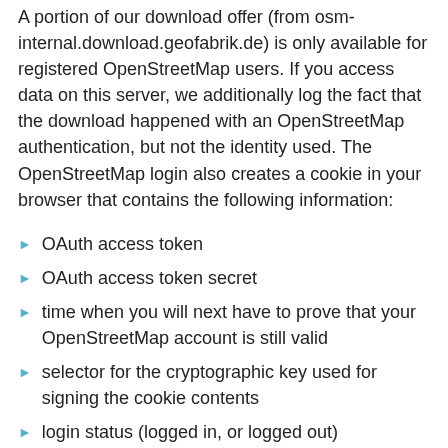A portion of our download offer (from osm-internal.download.geofabrik.de) is only available for registered OpenStreetMap users. If you access data on this server, we additionally log the fact that the download happened with an OpenStreetMap authentication, but not the identity used. The OpenStreetMap login also creates a cookie in your browser that contains the following information:
OAuth access token
OAuth access token secret
time when you will next have to prove that your OpenStreetMap account is still valid
selector for the cryptographic key used for signing the cookie contents
login status (logged in, or logged out)
Cookies are only saved in your browser, and not on our servers.